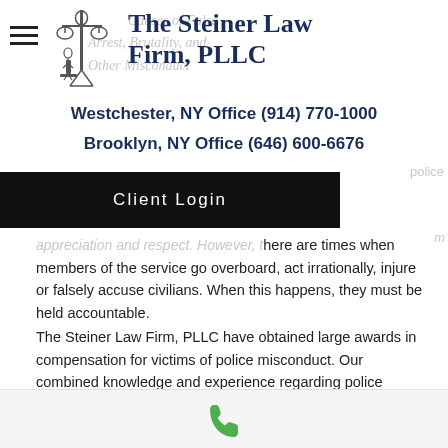The Steiner Law Firm, PLLC
Westchester, NY Office (914) 770-1000
Brooklyn, NY Office (646) 600-6676
Client Login
appreciation and respect. However, there are times when members of the service go overboard, act irrationally, injure or falsely accuse civilians. When this happens, they must be held accountable.
The Steiner Law Firm, PLLC have obtained large awards in compensation for victims of police misconduct. Our combined knowledge and experience regarding police procedure, coupled with our knowledge and experience in civil injury cases, makes us the ideal firm
[Figure (other): Phone icon in green at the bottom of the page]